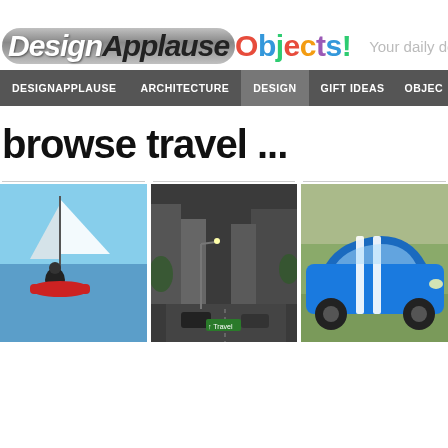DesignApplauseObjects!
Your daily doses
DESIGNAPPLAUSE  ARCHITECTURE  DESIGN  GIFT IDEAS  OBJEC...
browse travel ...
[Figure (photo): Person windsurfing on blue water]
[Figure (photo): Street scene with cars and buildings]
[Figure (photo): Blue car with white racing stripes]